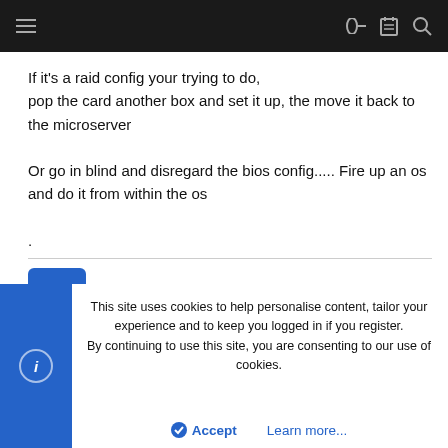[Navigation bar with hamburger menu and icons]
If it's a raid config your trying to do,
pop the card another box and set it up, the move it back to the microserver

Or go in blind and disregard the bios config..... Fire up an os and do it from within the os

.
canta
Well-Known Member
This site uses cookies to help personalise content, tailor your experience and to keep you logged in if you register.
By continuing to use this site, you are consenting to our use of cookies.
Accept   Learn more...